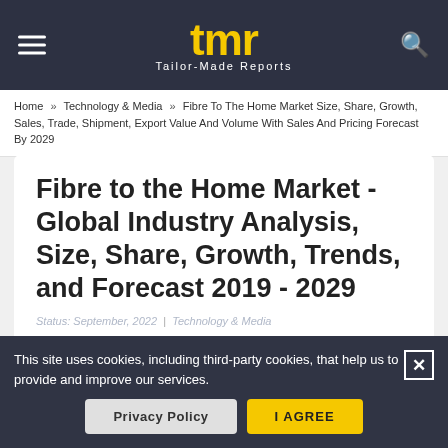tmr Tailor-Made Reports
Home » Technology & Media » Fibre To The Home Market Size, Share, Growth, Sales, Trade, Shipment, Export Value And Volume With Sales And Pricing Forecast By 2029
Fibre to the Home Market - Global Industry Analysis, Size, Share, Growth, Trends, and Forecast 2019 - 2029
Status: September, 2022  |  Technology & Media
This site uses cookies, including third-party cookies, that help us to provide and improve our services.
Privacy Policy    I AGREE